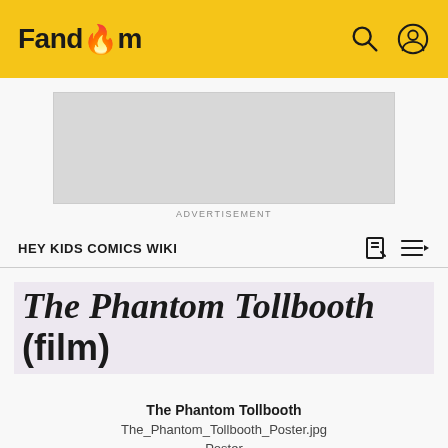Fandom
[Figure (other): Advertisement placeholder box (gray rectangle)]
ADVERTISEMENT
HEY KIDS COMICS WIKI
The Phantom Tollbooth (film)
The Phantom Tollbooth
The_Phantom_Tollbooth_Poster.jpg
Poster